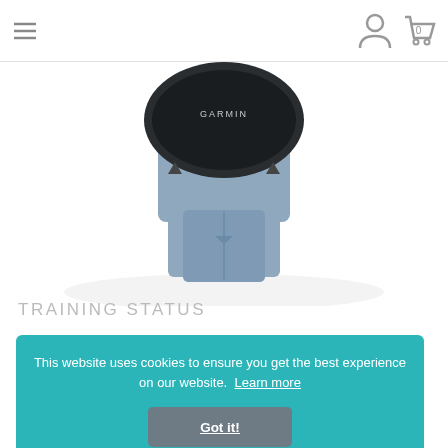[Figure (screenshot): Garmin website screenshot showing navigation bar with hamburger menu, user icon, and cart icon (showing 0 items). Below is a partial product photo of a Garmin smartwatch showing the bottom clasp/band connector in slate blue color.]
TRAINING STATUS
This website uses cookies to ensure you get the best experience on our website.  Learn more
Got it!